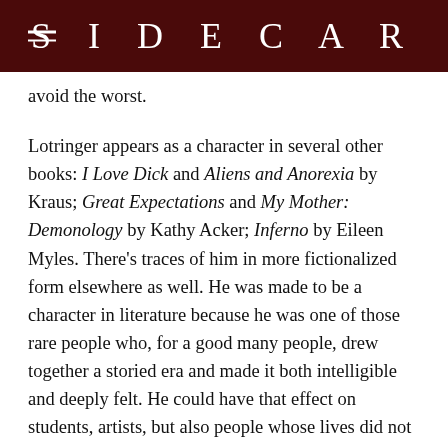SIDECAR
avoid the worst.
Lotringer appears as a character in several other books: I Love Dick and Aliens and Anorexia by Kraus; Great Expectations and My Mother: Demonology by Kathy Acker; Inferno by Eileen Myles. There’s traces of him in more fictionalized form elsewhere as well. He was made to be a character in literature because he was one of those rare people who, for a good many people, drew together a storied era and made it both intelligible and deeply felt. He could have that effect on students, artists, but also people whose lives did not end up centering intellectual or creative labour but needed nevertheless to understand the play of power and desire that shaped the limits and